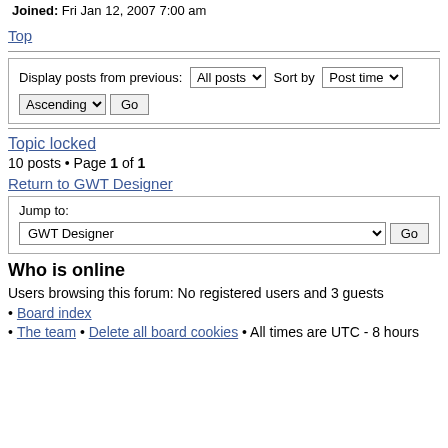Joined: Fri Jan 12, 2007 7:00 am
Top
Display posts from previous: All posts  Sort by Post time Ascending  Go
Topic locked
10 posts • Page 1 of 1
Return to GWT Designer
Jump to: GWT Designer  Go
Who is online
Users browsing this forum: No registered users and 3 guests
Board index
The team • Delete all board cookies • All times are UTC - 8 hours